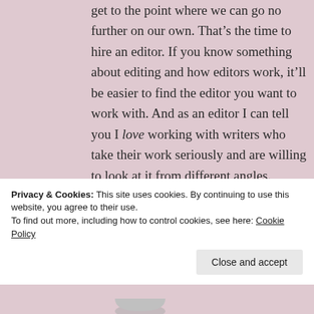get to the point where we can go no further on our own. That’s the time to hire an editor. If you know something about editing and how editors work, it’ll be easier to find the editor you want to work with. And as an editor I can tell you I love working with writers who take their work seriously and are willing to look at it from different angles.
★ Like
Privacy & Cookies: This site uses cookies. By continuing to use this website, you agree to their use.
To find out more, including how to control cookies, see here: Cookie Policy
Close and accept